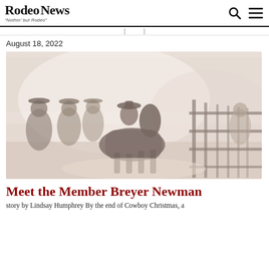Rodeo News — "Nothin' but Rodeo"
August 18, 2022
[Figure (photo): Cowboys at a rodeo event; a rider on horseback surrounded by several people in cowboy hats near a metal fence/chute, dusty outdoor setting with bare winter trees in the background.]
Meet the Member Breyer Newman
story by Lindsay Humphrey By the end of Cowboy Christmas, a